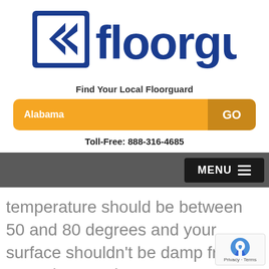[Figure (logo): Floorguard logo with blue double-arrow icon and blue bold text 'floorguard']
Find Your Local Floorguard
Alabama   GO
Toll-Free: 888-316-4685
[Figure (screenshot): Dark gray navigation bar with black MENU button and hamburger icon on right]
temperature should be between 50 and 80 degrees and your surface shouldn't be damp from any rainy weather.